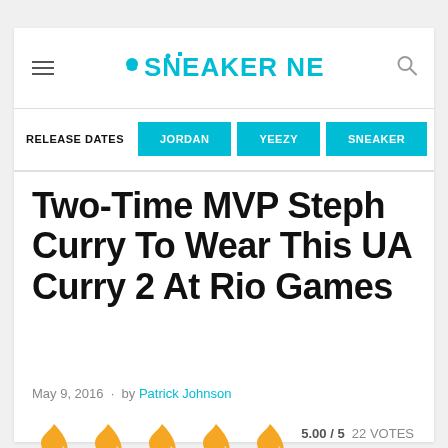SNEAKER NEWS
RELEASE DATES  JORDAN  YEEZY  SNEAKER
Two-Time MVP Steph Curry To Wear This UA Curry 2 At Rio Games
May 9, 2016 · by Patrick Johnson
[Figure (other): Five flame icons for rating display, score 5.00 / 5, 22 VOTES]